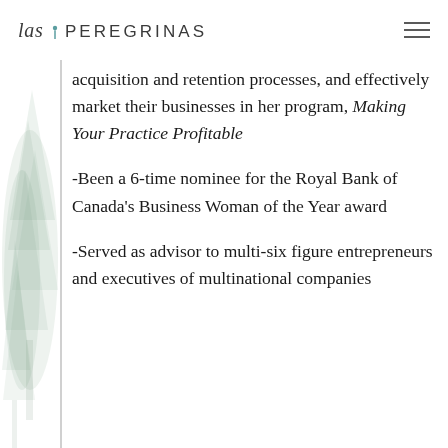las PEREGRINAS
acquisition and retention processes, and effectively market their businesses in her program, Making Your Practice Profitable
-Been a 6-time nominee for the Royal Bank of Canada’s Business Woman of the Year award
-Served as advisor to multi-six figure entrepreneurs and executives of multinational companies